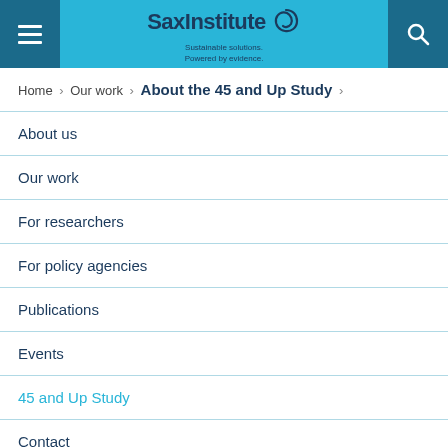[Figure (logo): Sax Institute logo with spiral icon and tagline 'Sustainable solutions. Powered by evidence.']
Home > Our work > About the 45 and Up Study >
About us
Our work
For researchers
For policy agencies
Publications
Events
45 and Up Study
Contact